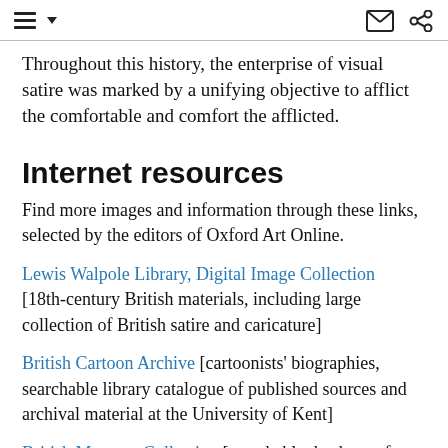[menu icon] [dropdown arrow] [envelope icon] [share icon]
Throughout this history, the enterprise of visual satire was marked by a unifying objective to afflict the comfortable and comfort the afflicted.
Internet resources
Find more images and information through these links, selected by the editors of Oxford Art Online.
Lewis Walpole Library, Digital Image Collection [18th-century British materials, including large collection of British satire and caricature]
British Cartoon Archive [cartoonists' biographies, searchable library catalogue of published sources and archival material at the University of Kent]
British Museum Collection [searchable database of object information and images; massive collection